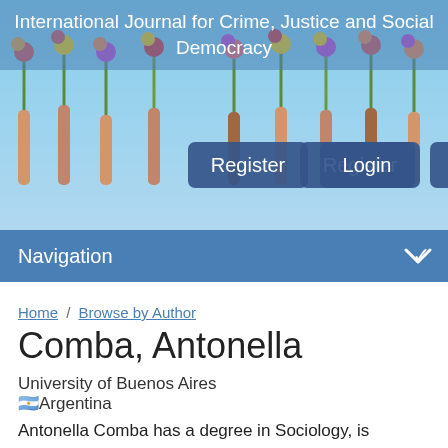International Journal for Crime, Justice and Social Democracy
[Figure (illustration): Banner showing hands holding flowers against a blue sky background, with Register and Login buttons]
Navigation
Home / Browse by Author
Comba, Antonella
University of Buenos Aires
🇦🇷Argentina
Antonella Comba has a degree in Sociology, is Professor in Sociology and recently completed her  Ph.D. in Social Sciences -program oriented to crime and social control- in the University of Buenos Aires, Argentina.
Her studies have been oriented to study, from a social